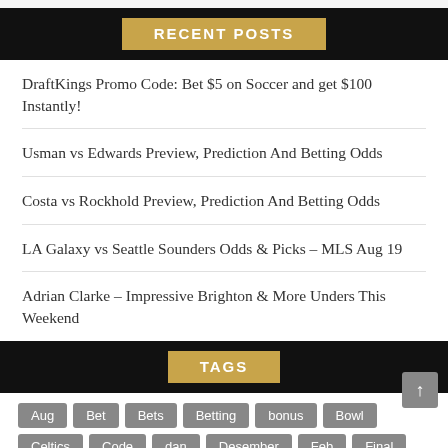RECENT POSTS
DraftKings Promo Code: Bet $5 on Soccer and get $100 Instantly!
Usman vs Edwards Preview, Prediction And Betting Odds
Costa vs Rockhold Preview, Prediction And Betting Odds
LA Galaxy vs Seattle Sounders Odds & Picks – MLS Aug 19
Adrian Clarke – Impressive Brighton & More Unders This Weekend
TAGS
Aug
Bet
Bets
Betting
bonus
Bowl
Celtics
Code
dan
Desember
Feb
Final
Game
Januari
July
June
League
Lines
March
McGregor
NBA
NFL
Odds
Open
Peluang
Picks
Pilihan
Player